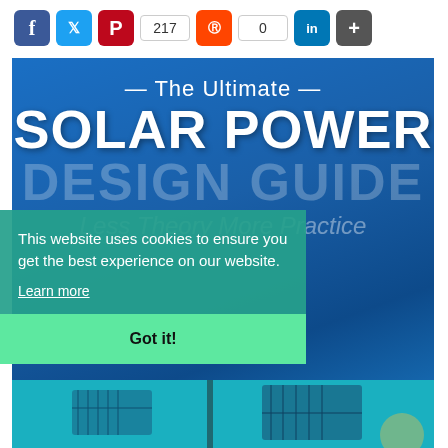[Figure (infographic): Social share bar with Facebook, Twitter, Pinterest (217 shares), Reddit (0 shares), LinkedIn, and More buttons]
[Figure (infographic): The Ultimate Solar Power Design Guide infographic cover image on blue background with bold white text. Subtitle: Less Theory More Practice]
This website uses cookies to ensure you get the best experience on our website.
Learn more
Got it!